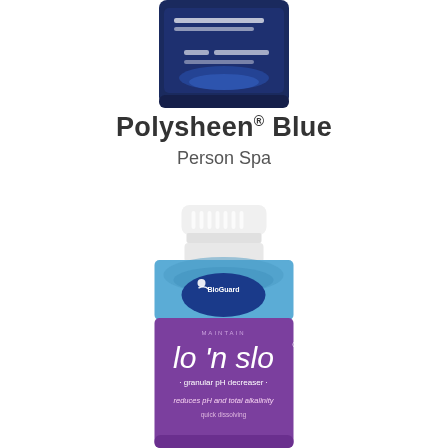[Figure (photo): Partial view of Polysheen Blue spa product bottle (blue liquid bottle with white cap), cropped at top of page]
Polysheen® Blue
Person Spa
[Figure (photo): BioGuard lo 'n slo granular pH decreaser product bottle — white cap, blue and purple label. Label reads: MAINTAIN, lo 'n slo®, granular pH decreaser, reduces pH and total alkalinity, quick dissolving]